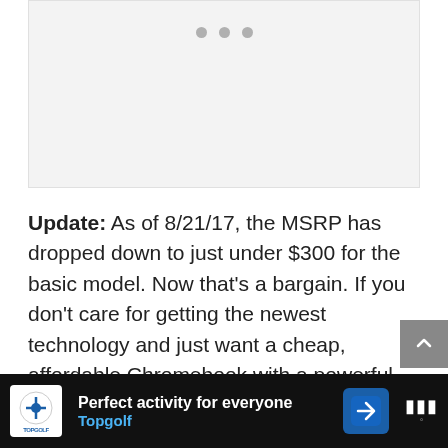[Figure (photo): Image placeholder with three gray dots indicating a slideshow/carousel at the top]
Update: As of 8/21/17, the MSRP has dropped down to just under $300 for the basic model. Now that's a bargain. If you don't care for getting the newest technology and just want a cheap, affordable Chromebook with a powerful spec sheet, this beast is a worthy consideration.
You can learn more from our recommendation re... want.
[Figure (other): Topgolf advertisement banner: Perfect activity for everyone — Topgolf]